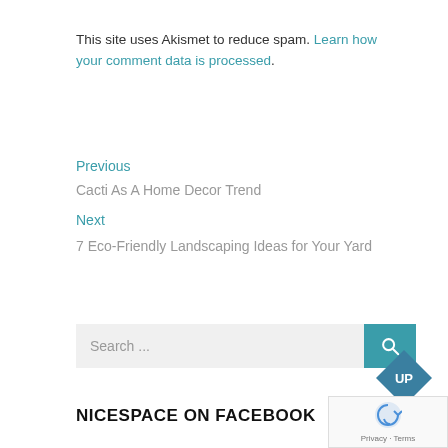This site uses Akismet to reduce spam. Learn how your comment data is processed.
Previous
Cacti As A Home Decor Trend
Next
7 Eco-Friendly Landscaping Ideas for Your Yard
Search ...
NICESPACE ON FACEBOOK